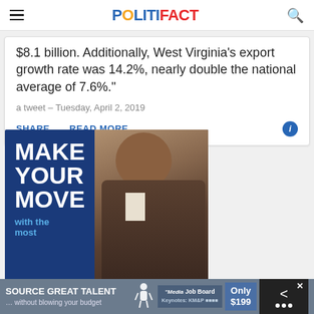POLITIFACT
$8.1 billion. Additionally, West Virginia's export growth rate was 14.2%, nearly double the national average of 7.6%."
a tweet – Tuesday, April 2, 2019
SHARE   READ MORE
[Figure (photo): Advertisement: MAKE YOUR MOVE with the most - featuring a person in a suit looking down, on a dark blue background]
[Figure (photo): Bottom ad banner: SOURCE GREAT TALENT ...without blowing your budget, Media Job Board, Only $199]